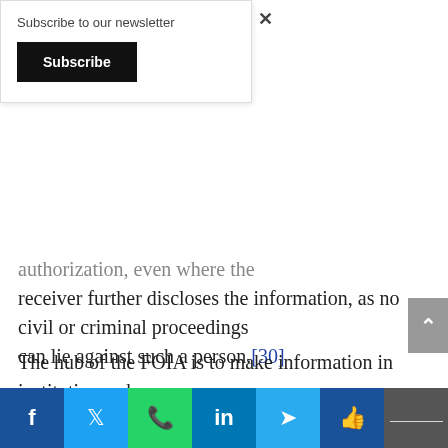Subscribe to our newsletter
Subscribe
authorization, even where the receiver further discloses the information, as no civil or criminal proceedings can lie against such a person.[30]
The hub of the FOIA is to make information in institutions where public funds are expended or in which the public has other forms of interests,
f  [twitter]  [whatsapp]  in  [telegram]  [like]  [share]